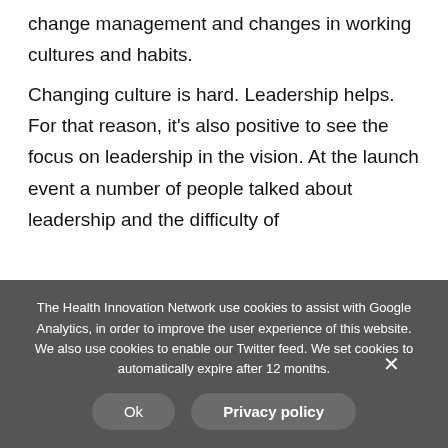change management and changes in working cultures and habits.
Changing culture is hard. Leadership helps. For that reason, it's also positive to see the focus on leadership in the vision. At the launch event a number of people talked about leadership and the difficulty of
The Health Innovation Network use cookies to assist with Google Analytics, in order to improve the user experience of this website. We also use cookies to enable our Twitter feed. We set cookies to automatically expire after 12 months.